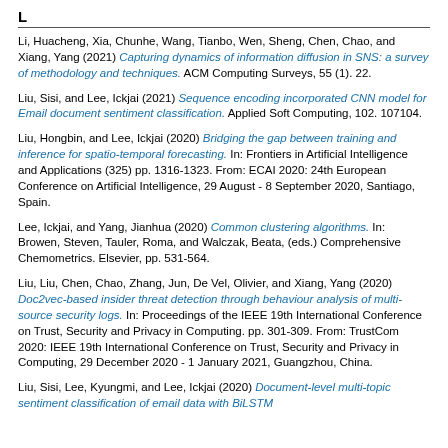L
Li, Huacheng, Xia, Chunhe, Wang, Tianbo, Wen, Sheng, Chen, Chao, and Xiang, Yang (2021) Capturing dynamics of information diffusion in SNS: a survey of methodology and techniques. ACM Computing Surveys, 55 (1). 22.
Liu, Sisi, and Lee, Ickjai (2021) Sequence encoding incorporated CNN model for Email document sentiment classification. Applied Soft Computing, 102. 107104.
Liu, Hongbin, and Lee, Ickjai (2020) Bridging the gap between training and inference for spatio-temporal forecasting. In: Frontiers in Artificial Intelligence and Applications (325) pp. 1316-1323. From: ECAI 2020: 24th European Conference on Artificial Intelligence, 29 August - 8 September 2020, Santiago, Spain.
Lee, Ickjai, and Yang, Jianhua (2020) Common clustering algorithms. In: Browen, Steven, Tauler, Roma, and Walczak, Beata, (eds.) Comprehensive Chemometrics. Elsevier, pp. 531-564.
Liu, Liu, Chen, Chao, Zhang, Jun, De Vel, Olivier, and Xiang, Yang (2020) Doc2vec-based insider threat detection through behaviour analysis of multi-source security logs. In: Proceedings of the IEEE 19th International Conference on Trust, Security and Privacy in Computing. pp. 301-309. From: TrustCom 2020: IEEE 19th International Conference on Trust, Security and Privacy in Computing, 29 December 2020 - 1 January 2021, Guangzhou, China.
Liu, Sisi, Lee, Kyungmi, and Lee, Ickjai (2020) Document-level multi-topic sentiment classification of email data with BiLSTM